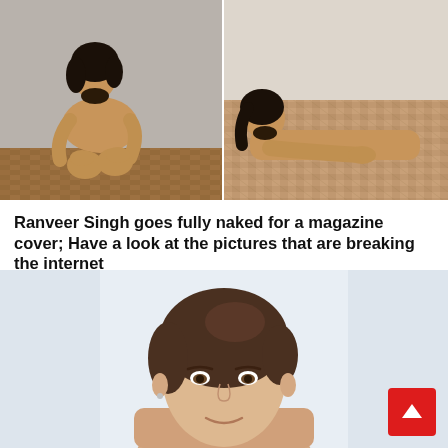[Figure (photo): Two side-by-side photos of a male celebrity (Ranveer Singh) posing nude for a magazine cover shoot. Left photo: man seated on floor against wall with patterned carpet. Right photo: man lying prone on a patterned carpet.]
Ranveer Singh goes fully naked for a magazine cover; Have a look at the pictures that are breaking the internet
[Figure (photo): Photo of a young woman with brown hair pulled back, smiling, photographed from the shoulders up against a light background.]